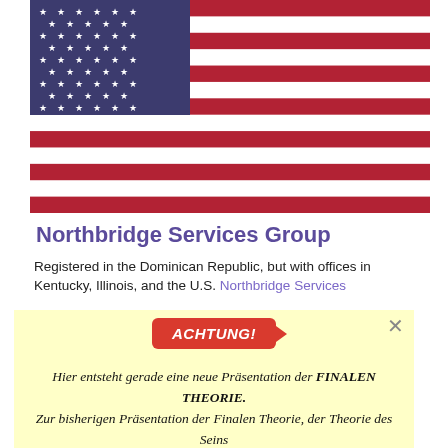[Figure (illustration): US flag (stars and stripes) filling top portion of page]
Northbridge Services Group
Registered in the Dominican Republic, but with offices in Kentucky, Illinois, and the U.S. Northbridge Services...
ACHTUNG! Hier entsteht gerade eine neue Präsentation der FINALEN THEORIE. Zur bisherigen Präsentation der Finalen Theorie, der Theorie des Seins kommen sie, wenn sie den Button drücken. THEORIE DES SEINS